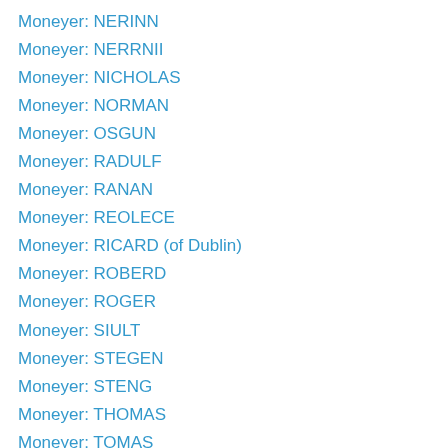Moneyer: NERINN
Moneyer: NERRNII
Moneyer: NICHOLAS
Moneyer: NORMAN
Moneyer: OSGUN
Moneyer: RADULF
Moneyer: RANAN
Moneyer: REOLECE
Moneyer: RICARD (of Dublin)
Moneyer: ROBERD
Moneyer: ROGER
Moneyer: SIULT
Moneyer: STEGEN
Moneyer: STENG
Moneyer: THOMAS
Moneyer: TOMAS
Moneyer: TURGOD
Moneyer: Unknown
Moneyer: WACE
Moneyer: WALTEX